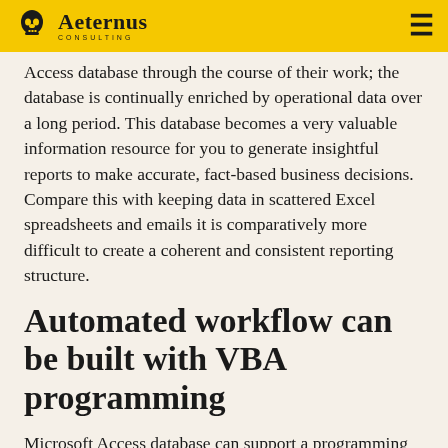Aeternus Consulting
Access database through the course of their work; the database is continually enriched by operational data over a long period. This database becomes a very valuable information resource for you to generate insightful reports to make accurate, fact-based business decisions. Compare this with keeping data in scattered Excel spreadsheets and emails it is comparatively more difficult to create a coherent and consistent reporting structure.
Automated workflow can be built with VBA programming
Microsoft Access database can support a programming language called Visual Basic for Applications (VBA). This feature allows an Access database developer to build tailor-made features into an Access database so that it